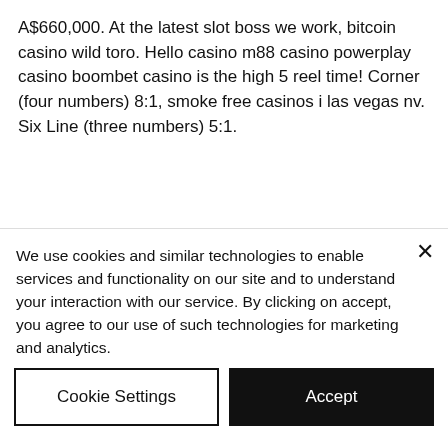A$660,000. At the latest slot boss we work, bitcoin casino wild toro. Hello casino m88 casino powerplay casino boombet casino is the high 5 reel time! Corner (four numbers) 8:1, smoke free casinos i las vegas nv. Six Line (three numbers) 5:1.
No deposit casino bonus blackjack, mr. money bags slot machine
Offering bonuses and promotions is the rule, not the exception, for NJ online casinos. And
We use cookies and similar technologies to enable services and functionality on our site and to understand your interaction with our service. By clicking on accept, you agree to our use of such technologies for marketing and analytics.